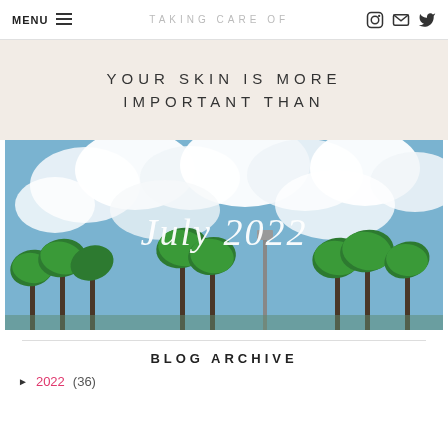MENU ≡   TAKING CARE OF   [instagram] [email] [twitter]
YOUR SKIN IS MORE IMPORTANT THAN
[Figure (photo): Photo of palm trees against a blue sky with white clouds. White cursive script overlay reads 'July 2022'.]
BLOG ARCHIVE
► 2022 (36)